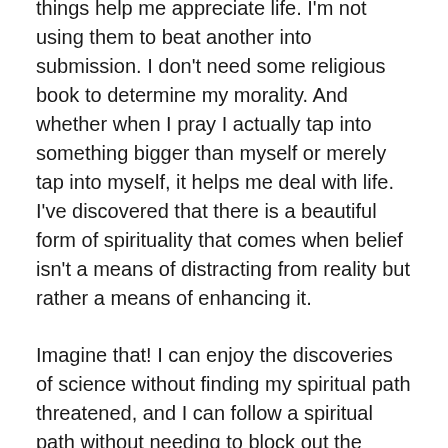things help me appreciate life. I'm not using them to beat another into submission. I don't need some religious book to determine my morality. And whether when I pray I actually tap into something bigger than myself or merely tap into myself, it helps me deal with life. I've discovered that there is a beautiful form of spirituality that comes when belief isn't a means of distracting from reality but rather a means of enhancing it.
Imagine that! I can enjoy the discoveries of science without finding my spiritual path threatened, and I can follow a spiritual path without needing to block out the discoveries made in the world around me!
I've stopped believing out of fear and started believing because it enriches my life and helps order my universe in a way that I can understand. And others are free to do the